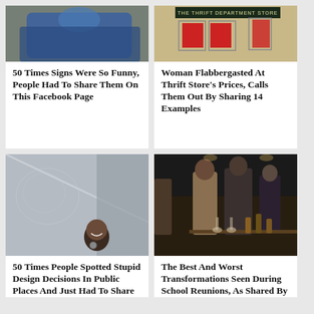[Figure (photo): Person under blue blanket, brick wall background]
50 Times Signs Were So Funny, People Had To Share Them On This Facebook Page
[Figure (photo): Storefront with sign reading THE THRIFT DEPARTMENT STORE]
Woman Flabbergasted At Thrift Store's Prices, Calls Them Out By Sharing 14 Examples
[Figure (photo): Man peeking through frosted glass panel in public restroom]
50 Times People Spotted Stupid Design Decisions In Public Places And Just Had To Share
[Figure (photo): Group of people at an evening social event or reunion]
The Best And Worst Transformations Seen During School Reunions, As Shared By These 30 Internet Users